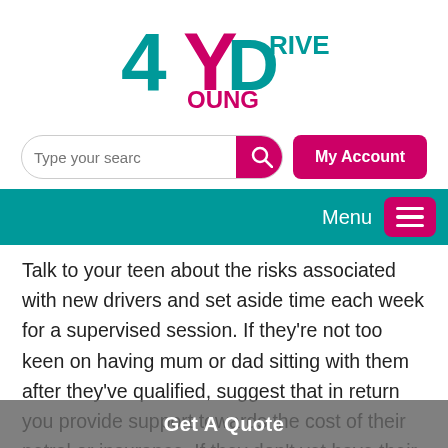[Figure (logo): 4YoungDrivers logo with teal '4' and 'D', pink 'Y' and text 'RIVERS' and 'OUNG']
Type your search | My Account | Menu
Talk to your teen about the risks associated with new drivers and set aside time each week for a supervised session. If they're not too keen on having mum or dad sitting with them after they've qualified, suggest that in return you provide support towards the cost of their petrol or insurance. If they don't yet have their own car, make it a condition of you allowing them to drive yours.
Get A Quote